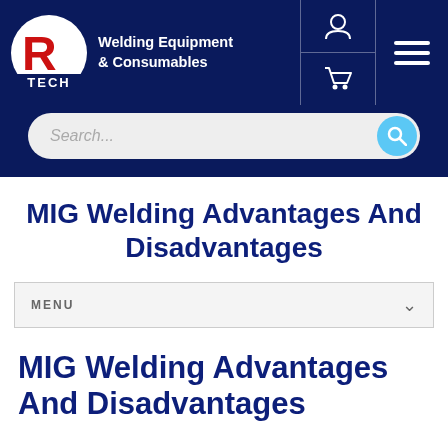[Figure (logo): R-Tech Welding logo with red R in white shield shape and TECH text below, on dark blue background, with Welding Equipment & Consumables text beside it, and user/cart icons and hamburger menu on the right]
[Figure (screenshot): Search bar with placeholder text 'Search...' and blue circular search button on dark blue background]
MIG Welding Advantages And Disadvantages
MENU
MIG Welding Advantages And Disadvantages